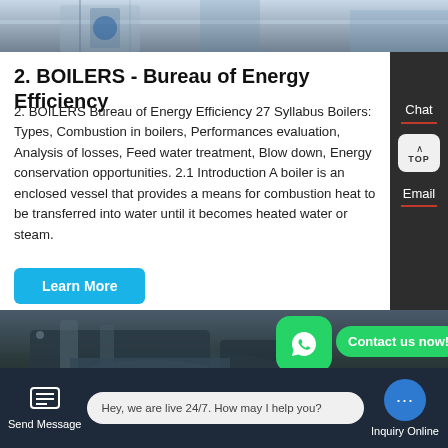[Figure (photo): Top banner photo showing industrial/boiler facility exterior with blue tones]
2. BOILERS - Bureau of Energy Efficiency
2. BOILERS Bureau of Energy Efficiency 27 Syllabus Boilers: Types, Combustion in boilers, Performances evaluation, Analysis of losses, Feed water treatment, Blow down, Energy conservation opportunities. 2.1 Introduction A boiler is an enclosed vessel that provides a means for combustion heat to be transferred into water until it becomes heated water or steam.
[Figure (photo): Bottom industrial boiler facility photo with dark tones, showing large cylindrical boiler equipment indoors]
Hey, we are live 24/7. How may I help you?
Send Message
Inquiry Online